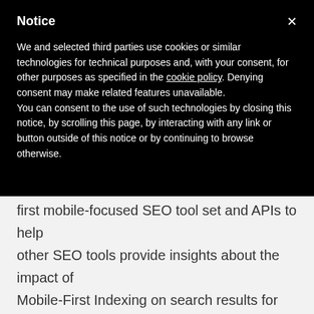Notice
We and selected third parties use cookies or similar technologies for technical purposes and, with your consent, for other purposes as specified in the cookie policy. Denying consent may make related features unavailable.
You can consent to the use of such technologies by closing this notice, by scrolling this page, by interacting with any link or button outside of this notice or by continuing to browse otherwise.
first mobile-focused SEO tool set and APIs to help other SEO tools provide insights about the impact of Mobile-First Indexing on search results for apps, websites and PWAs.
Cindy is also the author of Mobile Marketing: Finding Your Customers No Matter Where They Are, published by Que Publishing and now also available